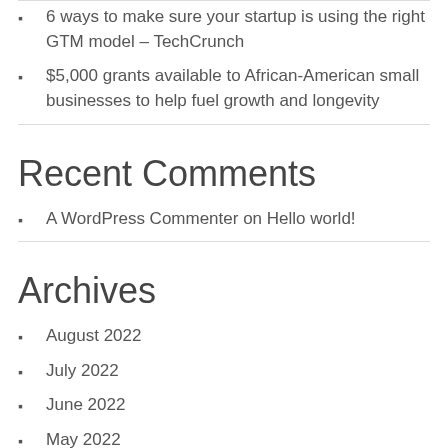6 ways to make sure your startup is using the right GTM model – TechCrunch
$5,000 grants available to African-American small businesses to help fuel growth and longevity
Recent Comments
A WordPress Commenter on Hello world!
Archives
August 2022
July 2022
June 2022
May 2022